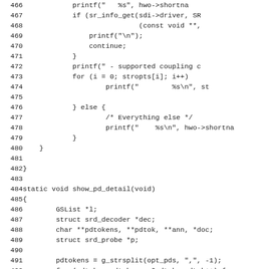Source code listing, lines 466-498, showing C code for show_pd_detail function and surrounding context.